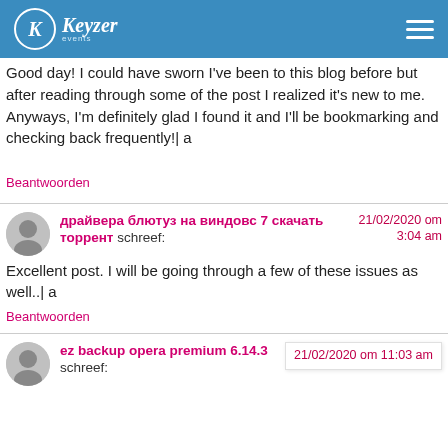Keyzer events
Good day! I could have sworn I've been to this blog before but after reading through some of the post I realized it's new to me. Anyways, I'm definitely glad I found it and I'll be bookmarking and checking back frequently!| a
Beantwoorden
драйвера блютуз на виндовс 7 скачать торрент schreef:
21/02/2020 om 3:04 am
Excellent post. I will be going through a few of these issues as well..| a
Beantwoorden
ez backup opera premium 6.14.3 schreef:
21/02/2020 om 11:03 am